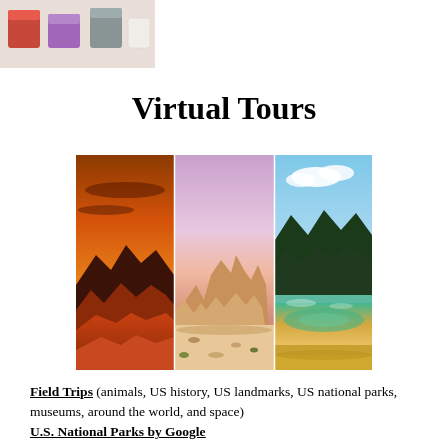[Figure (photo): Photo of paint cups with red, purple and other colors at top left corner]
Virtual Tours
[Figure (photo): Three-panel collage of US national parks: Grand Canyon sunset (left), rocky desert landscape (center), and colorful thermal lake with forest (right)]
Field Trips (animals, US history, US landmarks, US national parks, museums, around the world, and space)
U.S. National Parks by Google